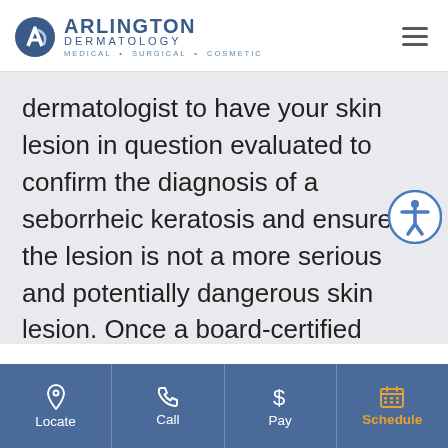ARLINGTON DERMATOLOGY — MEDICAL · SURGICAL · COSMETIC
dermatologist to have your skin lesion in question evaluated to confirm the diagnosis of a seborrheic keratosis and ensure the lesion is not a more serious and potentially dangerous skin lesion. Once a board-certified dermatologist confirms the diagnosis of a seborrheic keratosis, you can choose to pursue
Locate | Call | Pay | Schedule